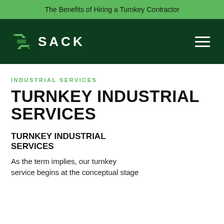The Benefits of Hiring a Turnkey Contractor
[Figure (logo): SACK company logo with stylized green S icon and white SACK wordmark on dark green navigation bar with hamburger menu icon]
INDUSTRIAL SERVICES
TURNKEY INDUSTRIAL SERVICES
TURNKEY INDUSTRIAL SERVICES
As the term implies, our turnkey service begins at the conceptual stage